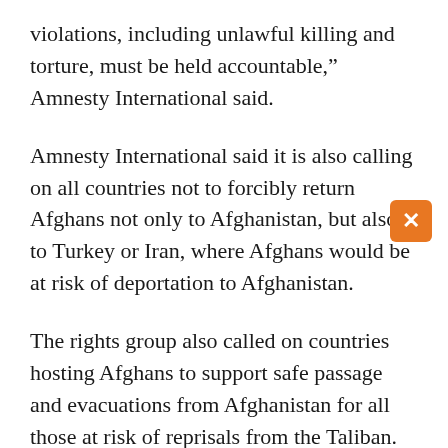violations, including unlawful killing and torture, must be held accountable," Amnesty International said.
Amnesty International said it is also calling on all countries not to forcibly return Afghans not only to Afghanistan, but also to Turkey or Iran, where Afghans would be at risk of deportation to Afghanistan.
The rights group also called on countries hosting Afghans to support safe passage and evacuations from Afghanistan for all those at risk of reprisals from the Taliban.
The hard-line group, which returned to power in August 2021, has been accused of serious human rights abuses, particularly against women and...